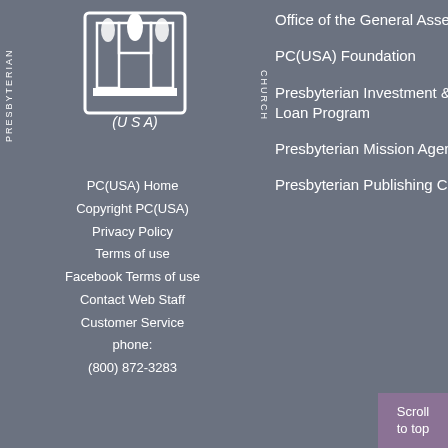[Figure (logo): Presbyterian Church (USA) logo with torch/pillar symbol, with rotated text PRESBYTERIAN on left and CHURCH on right]
(U S A)
PC(USA) Home
Copyright PC(USA)
Privacy Policy
Terms of use
Facebook Terms of use
Contact Web Staff
Customer Service
phone:
(800) 872-3283
Office of the General Assembly
PC(USA) Foundation
Presbyterian Investment & Loan Program
Presbyterian Mission Agency
Presbyterian Publishing Corporation
Compassion, Peace & Justice
Evangelism and Church Growth
Presbyterian W...
Racial Ethnic & Women's Ministries
Special Offerings
Stewardship
Theology Worship & Education
Vocation
World Mission
Young Adults
Scroll to top